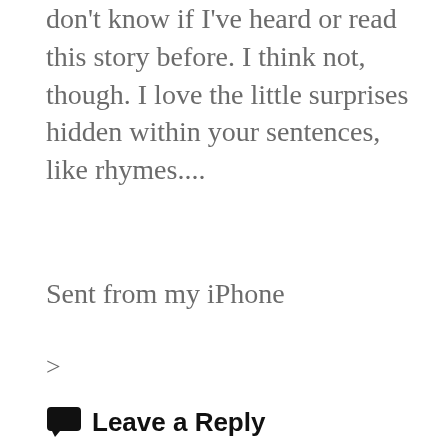don't know if I've heard or read this story before. I think not, though. I love the little surprises hidden within your sentences, like rhymes....
Sent from my iPhone
>
[Figure (other): Orange pill-shaped Reply button with white bold text]
Leave a Reply
Your email address will not be published